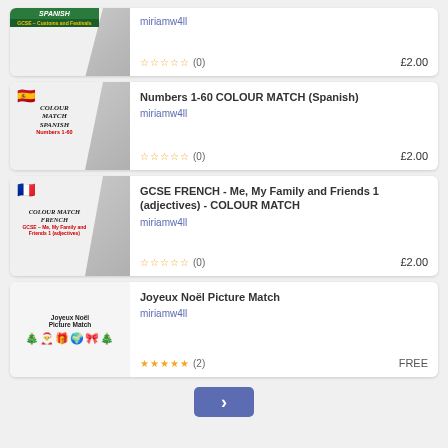[Figure (screenshot): Thumbnail for GCSE Spanish Customs and Festivals resource]
miriamw4ll
☆☆☆☆☆ (0)   £2.00
[Figure (screenshot): Thumbnail for Numbers 1-60 Colour Match Spanish resource with Spanish flag]
Numbers 1-60 COLOUR MATCH (Spanish)
miriamw4ll
☆☆☆☆☆ (0)   £2.00
[Figure (screenshot): Thumbnail for GCSE French Colour Match resource with French flag]
GCSE FRENCH - Me, My Family and Friends 1 (adjectives) - COLOUR MATCH
miriamw4ll
☆☆☆☆☆ (0)   £2.00
[Figure (screenshot): Thumbnail for Joyeux Noel Picture Match resource with Christmas icons]
Joyeux Noël Picture Match
miriamw4ll
★★★★★ (2)   FREE